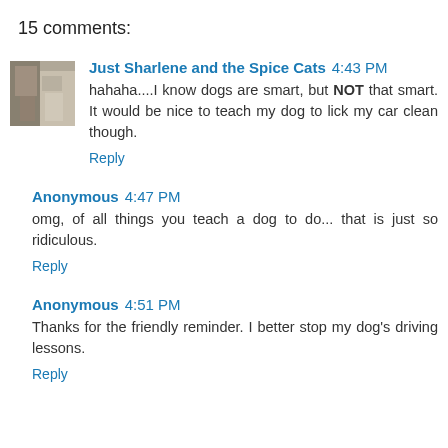15 comments:
Just Sharlene and the Spice Cats  4:43 PM
hahaha....I know dogs are smart, but NOT that smart. It would be nice to teach my dog to lick my car clean though.
Reply
Anonymous  4:47 PM
omg, of all things you teach a dog to do... that is just so ridiculous.
Reply
Anonymous  4:51 PM
Thanks for the friendly reminder. I better stop my dog's driving lessons.
Reply